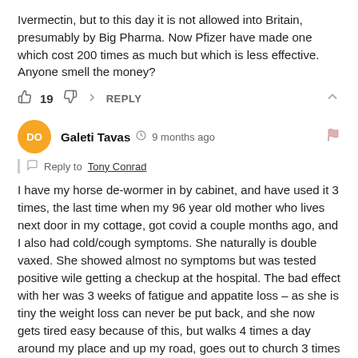Ivermectin, but to this day it is not allowed into Britain, presumably by Big Pharma. Now Pfizer have made one which cost 200 times as much but which is less effective. Anyone smell the money?
19  REPLY
DO  Galeti Tavas  9 months ago
Reply to Tony Conrad
I have my horse de-wormer in by cabinet, and have used it 3 times, the last time when my 96 year old mother who lives next door in my cottage, got covid a couple months ago, and I also had cold/cough symptoms. She naturally is double vaxed. She showed almost no symptoms but was tested positive wile getting a checkup at the hospital. The bad effect with her was 3 weeks of fatigue and appatite loss – as she is tiny the weight loss can never be put back, and she now gets tired easy because of this, but walks 4 times a day around my place and up my road, goes out to church 3 times a week, and goes shopping a couple times a week – basically she had a long covid response to a minor covid (mild raised temp for 2